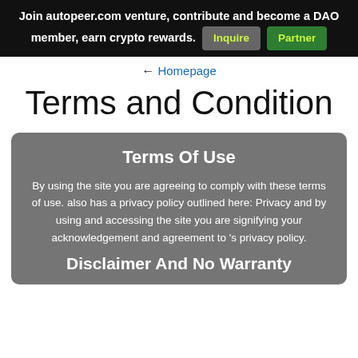Join autopeer.com venture, contribute and become a DAO member, earn crypto rewards. Inquire Partner
← Homepage
Terms and Condition
Terms Of Use
By using the site you are agreeing to comply with these terms of use. also has a privacy policy outlined here: Privacy and by using and accessing the site you are signifying your acknowledgement and agreement to 's privacy policy.
Disclaimer And No Warranty